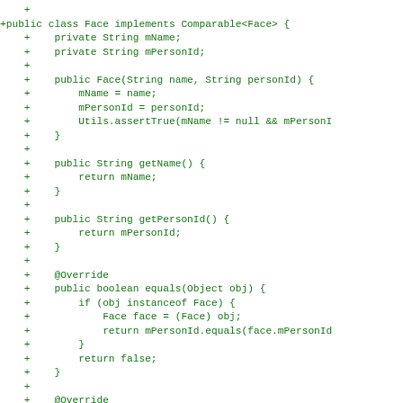[Figure (screenshot): Code diff showing Java class 'Face implements Comparable<Face>' with fields mName and mPersonId, constructor, getName(), getPersonId(), equals(), and beginning of hashCode() methods, all prefixed with '+' indicating additions in a diff view, displayed in green monospace font on white background.]